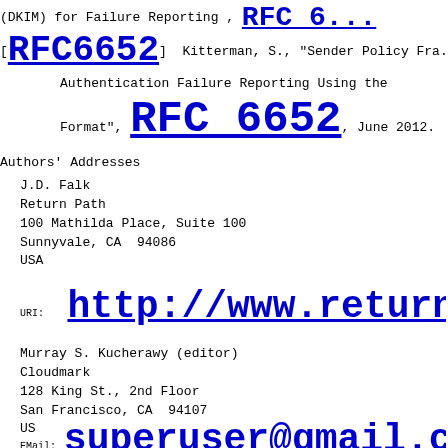(DKIM) for Failure Reporting , RFC 6...
[RFC6652] Kitterman, S., "Sender Policy Fra... Authentication Failure Reporting Using the Format", RFC 6652, June 2012.
Authors' Addresses
J.D. Falk
Return Path
100 Mathilda Place, Suite 100
Sunnyvale, CA  94086
USA
URI:   http://www.returnpa...
Murray S. Kucherawy (editor)
Cloudmark
128 King St., 2nd Floor
San Francisco, CA  94107
US
EMail: superuser@gmail.com